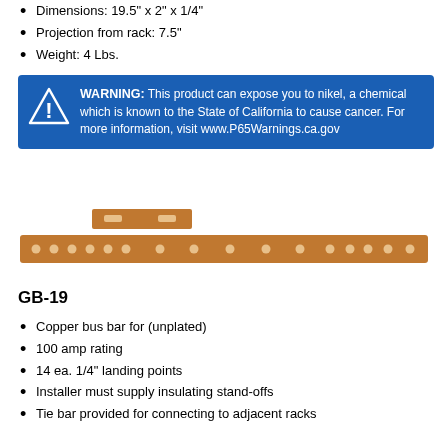Dimensions: 19.5 x 2 x 1/4
Projection from rack: 7.5"
Weight: 4 Lbs.
[Figure (infographic): Blue warning box with triangle exclamation icon and text: WARNING: This product can expose you to nikel, a chemical which is known to the State of California to cause cancer. For more information, visit www.P65Warnings.ca.gov]
[Figure (photo): Photo of a copper bus bar (GB-19) — a long flat copper bar with holes, and a smaller tie bar above it]
GB-19
Copper bus bar for (unplated)
100 amp rating
14 ea. 1/4" landing points
Installer must supply insulating stand-offs
Tie bar provided for connecting to adjacent racks